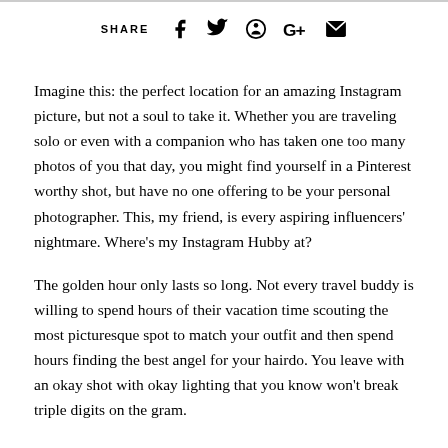SHARE [social icons]
Imagine this: the perfect location for an amazing Instagram picture, but not a soul to take it. Whether you are traveling solo or even with a companion who has taken one too many photos of you that day, you might find yourself in a Pinterest worthy shot, but have no one offering to be your personal photographer. This, my friend, is every aspiring influencers' nightmare. Where's my Instagram Hubby at?
The golden hour only lasts so long. Not every travel buddy is willing to spend hours of their vacation time scouting the most picturesque spot to match your outfit and then spend hours finding the best angel for your hairdo. You leave with an okay shot with okay lighting that you know won't break triple digits on the gram.